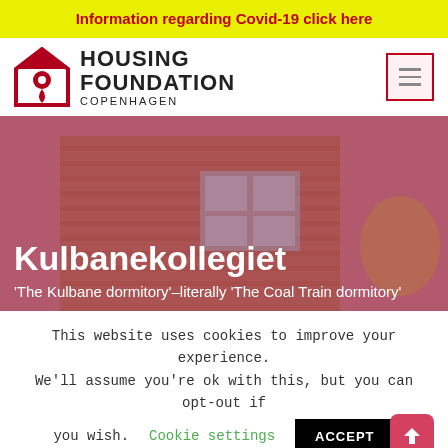Information regarding Covid-19 click here
[Figure (logo): Housing Foundation Copenhagen logo with red house/pin icon and bold text]
[Figure (photo): Exterior photo of Kulbanekollegiet brick dormitory building with pink/magenta color overlay. White bold title text 'Kulbanekollegiet' and subtitle 'The Kulbane dormitory'—literally 'The Coal Train dormitory' overlaid on the image.]
This website uses cookies to improve your experience. We'll assume you're ok with this, but you can opt-out if you wish. Cookie settings ACCEPT